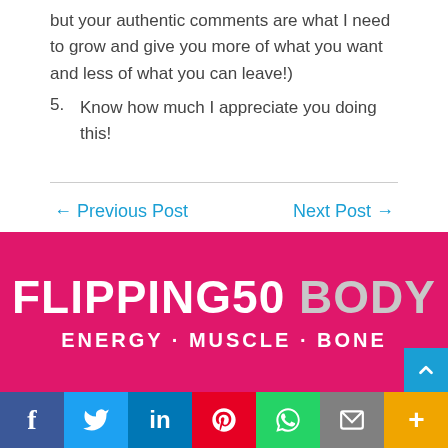but your authentic comments are what I need to grow and give you more of what you want and less of what you can leave!)
5. Know how much I appreciate you doing this!
← Previous Post    Next Post →
[Figure (logo): Flipping50 Body logo — ENERGY · MUSCLE · BONE on pink/magenta background]
f  Twitter  in  Pinterest  WhatsApp  Email  More